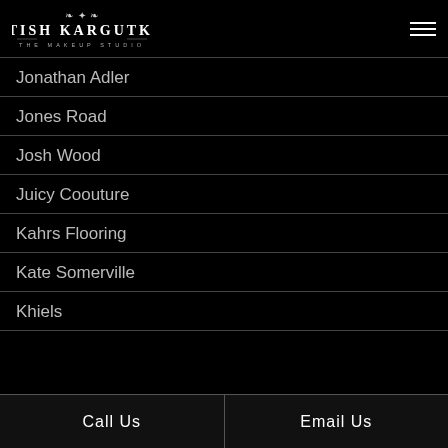Satish Kargutkar – The Makeup Studio
Jonathan Adler
Jones Road
Josh Wood
Juicy Coouture
Kahrs Flooring
Kate Somerville
Khiels
Call Us  |  Email Us